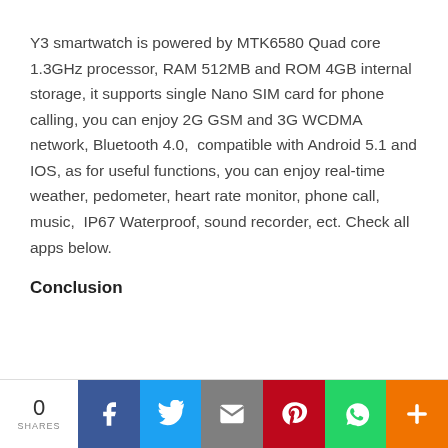Y3 smartwatch is powered by MTK6580 Quad core 1.3GHz processor, RAM 512MB and ROM 4GB internal storage, it supports single Nano SIM card for phone calling, you can enjoy 2G GSM and 3G WCDMA network, Bluetooth 4.0,  compatible with Android 5.1 and IOS, as for useful functions, you can enjoy real-time weather, pedometer, heart rate monitor, phone call, music,  IP67 Waterproof, sound recorder, ect. Check all apps below.
Conclusion
0 SHARES | Facebook | Twitter | Email | Pinterest | WhatsApp | More